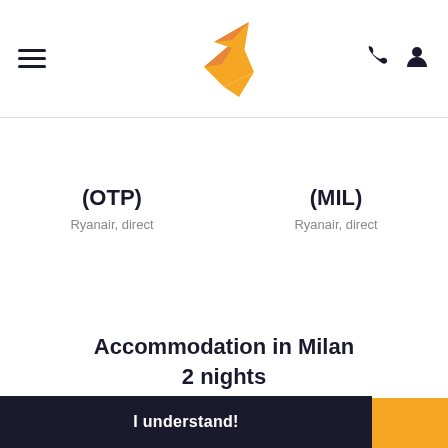Navigation header with hamburger menu, bird logo, phone icon, and user icon
(OTP)
Ryanair, direct
(MIL)
Ryanair, direct
Accommodation in Milan
2 nights
Double room
Our site uses cookies. For more information please read About Cookies and Privacy policy
I understand!